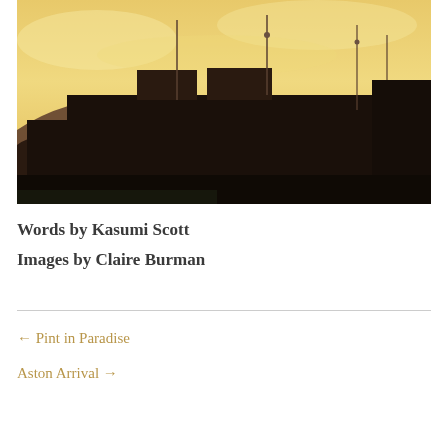[Figure (photo): Silhouette of industrial or stadium structures against a warm golden-yellow sunset sky, with hills visible in the background and dark foreground structures.]
Words by Kasumi Scott
Images by Claire Burman
← Pint in Paradise
Aston Arrival →